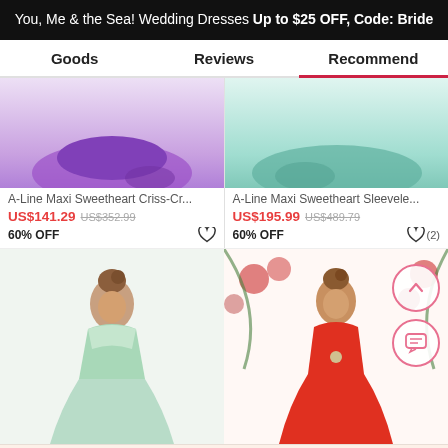You, Me & the Sea! Wedding Dresses Up to $25 OFF, Code: Bride
Goods   Reviews   Recommend
[Figure (photo): Purple ball gown dress photo (bottom portion visible)]
A-Line Maxi Sweetheart Criss-Cr...
US$141.29  US$352.99
60% OFF
[Figure (photo): Mint/teal gown dress photo (bottom portion visible)]
A-Line Maxi Sweetheart Sleevele...
US$195.99  US$489.79
60% OFF
[Figure (photo): Woman in mint beaded sweetheart gown]
[Figure (photo): Woman in red sweetheart gown with rose background]
Get $5 off for your first order!
CLAIM NOW
ADD TO BAG